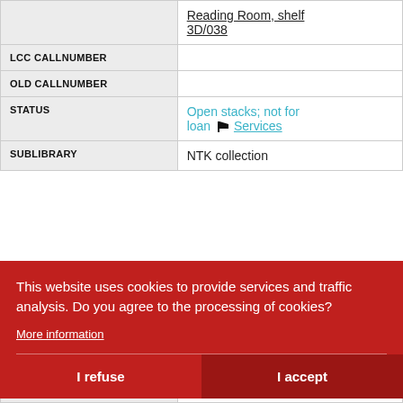| Field | Value |
| --- | --- |
|  | Reading Room, shelf 3D/038 |
| LCC CALLNUMBER |  |
| OLD CALLNUMBER |  |
| STATUS | Open stacks; not for loan 🏴 Services |
| SUBLIBRARY | NTK collection |
This website uses cookies to provide services and traffic analysis. Do you agree to the processing of cookies?
More information
I refuse
I accept
| Field | Value |
| --- | --- |
| STATUS |  |